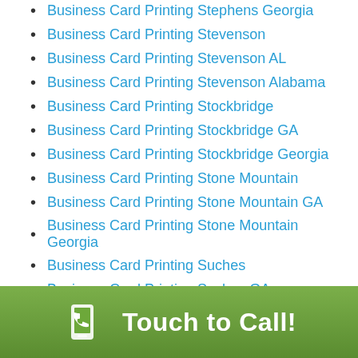Business Card Printing Stephens Georgia
Business Card Printing Stevenson
Business Card Printing Stevenson AL
Business Card Printing Stevenson Alabama
Business Card Printing Stockbridge
Business Card Printing Stockbridge GA
Business Card Printing Stockbridge Georgia
Business Card Printing Stone Mountain
Business Card Printing Stone Mountain GA
Business Card Printing Stone Mountain Georgia
Business Card Printing Suches
Business Card Printing Suches GA
Business Card Printing Suches Georgia
Business Card Printing Sugar Valley
Business Card Printing Sugar Valley GA
Business Card Printing Sugar Valley Georgia
Business Card Printing Summerville
Business Card Printing Summerville GA
Touch to Call!